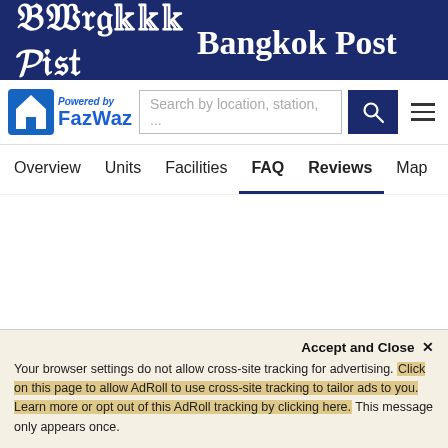Bangkok Post
[Figure (logo): FazWaz logo with house icon and 'Powered by FazWaz' text in blue, with search bar and hamburger menu]
Overview  Units  Facilities  FAQ  Reviews  Map
Accept and Close ×
Your browser settings do not allow cross-site tracking for advertising. Click on this page to allow AdRoll to use cross-site tracking to tailor ads to you. Learn more or opt out of this AdRoll tracking by clicking here. This message only appears once.